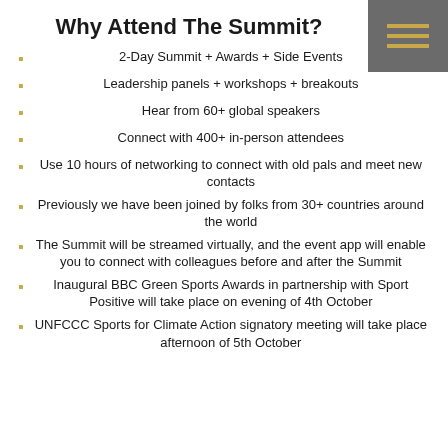Why Attend The Summit?
2-Day Summit + Awards + Side Events
Leadership panels + workshops + breakouts
Hear from 60+ global speakers
Connect with 400+ in-person attendees
Use 10 hours of networking to connect with old pals and meet new contacts
Previously we have been joined by folks from 30+ countries around the world
The Summit will be streamed virtually, and the event app will enable you to connect with colleagues before and after the Summit
Inaugural BBC Green Sports Awards in partnership with Sport Positive will take place on evening of 4th October
UNFCCC Sports for Climate Action signatory meeting will take place afternoon of 5th October